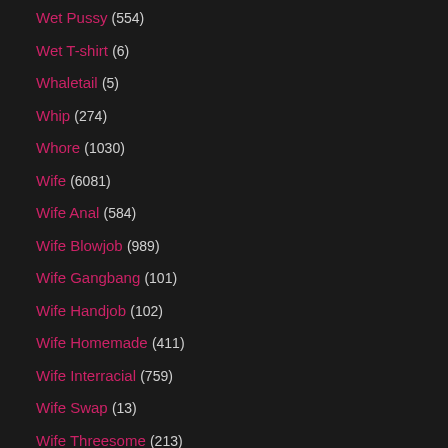Wet Pussy (554)
Wet T-shirt (6)
Whaletail (5)
Whip (274)
Whore (1030)
Wife (6081)
Wife Anal (584)
Wife Blowjob (989)
Wife Gangbang (101)
Wife Handjob (102)
Wife Homemade (411)
Wife Interracial (759)
Wife Swap (13)
Wife Threesome (213)
Wife Watches Husband (20)